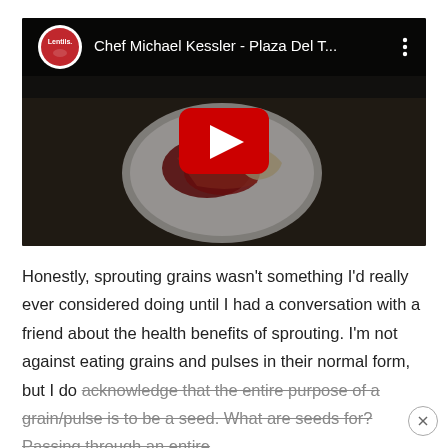[Figure (screenshot): YouTube video embed showing 'Chef Michael Kessler - Plaza Del T...' with Lentils logo, a dark food image with a white plate, and a red play button in the center]
Honestly, sprouting grains wasn't something I'd really ever considered doing until I had a conversation with a friend about the health benefits of sprouting. I'm not against eating grains and pulses in their normal form, but I do acknowledge that the entire purpose of a grain/pulse is to be a seed. What are seeds for? Passing through an entire